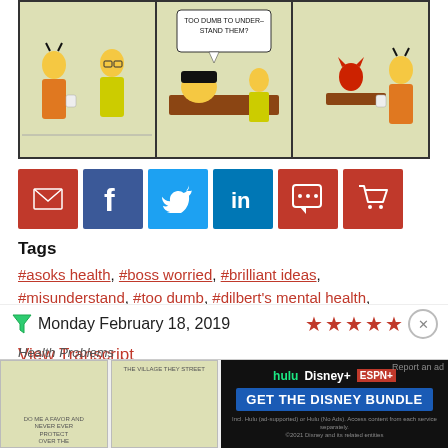[Figure (illustration): Dilbert comic strip showing three panels: two characters talking in first panel, a boss character lying on desk in second panel with speech bubble 'TOO DUMB TO UNDER- STAND THEM?', and characters with red devil figure in third panel]
[Figure (infographic): Social sharing buttons: Email (red), Facebook (dark blue), Twitter (light blue), LinkedIn (blue), Comment (red), Cart (red)]
Tags
#asoks health, #boss worried, #brilliant ideas, #misunderstand, #too dumb, #dilbert's mental health, #called into question
View Transcript
Monday February 18, 2019
Health Problems
[Figure (illustration): Preview of next Dilbert comic strip showing three panels]
[Figure (infographic): Disney Bundle advertisement banner showing Hulu, Disney+, ESPN+ logos with 'GET THE DISNEY BUNDLE' CTA button]